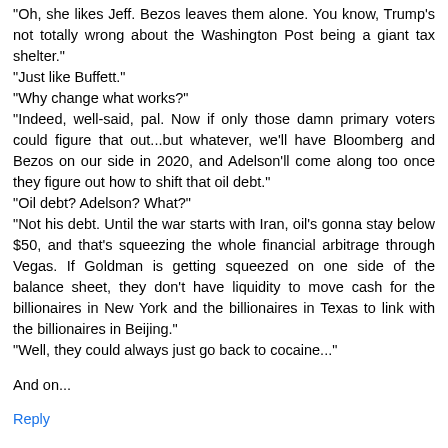"Oh, she likes Jeff. Bezos leaves them alone. You know, Trump's not totally wrong about the Washington Post being a giant tax shelter."
"Just like Buffett."
"Why change what works?"
"Indeed, well-said, pal. Now if only those damn primary voters could figure that out...but whatever, we'll have Bloomberg and Bezos on our side in 2020, and Adelson'll come along too once they figure out how to shift that oil debt."
"Oil debt? Adelson? What?"
"Not his debt. Until the war starts with Iran, oil's gonna stay below $50, and that's squeezing the whole financial arbitrage through Vegas. If Goldman is getting squeezed on one side of the balance sheet, they don't have liquidity to move cash for the billionaires in New York and the billionaires in Texas to link with the billionaires in Beijing."
"Well, they could always just go back to cocaine..."
And on...
Reply